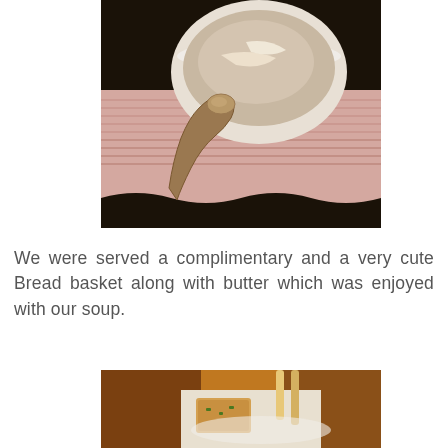[Figure (photo): Close-up photo of a white ceramic soup bowl with cream soup and a spoon resting on a pink ribbed placemat on a dark surface.]
We were served a complimentary and a very cute Bread basket along with butter which was enjoyed with our soup.
[Figure (photo): Photo of a bread basket with rolls and a small piece of bread/butter on a plate, partially visible.]